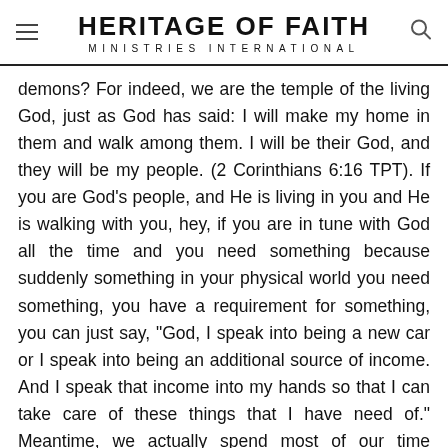HERITAGE OF FAITH MINISTRIES INTERNATIONAL
demons? For indeed, we are the temple of the living God, just as God has said: I will make my home in them and walk among them. I will be their God, and they will be my people. (2 Corinthians 6:16 TPT). If you are God’s people, and He is living in you and He is walking with you, hey, if you are in tune with God all the time and you need something because suddenly something in your physical world you need something, you have a requirement for something, you can just say, “God, I speak into being a new car or I speak into being an additional source of income. And I speak that income into my hands so that I can take care of these things that I have need of.” Meantime, we actually spend most of our time worrying about the temple where God is saying, “Do not even worry about it. I want to walk with you. I want to live